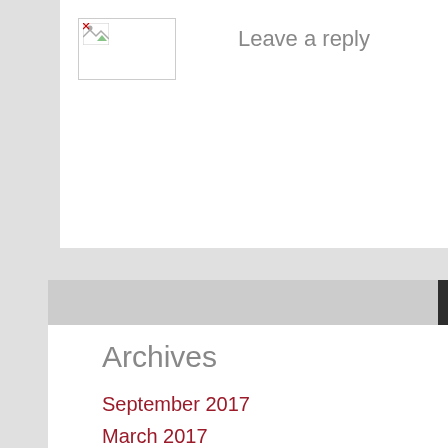[Figure (other): Broken/loading image placeholder with small icon in top-left corner]
Leave a reply
[Figure (other): Search bar with dark search button containing a magnifying glass icon]
Archives
September 2017
March 2017